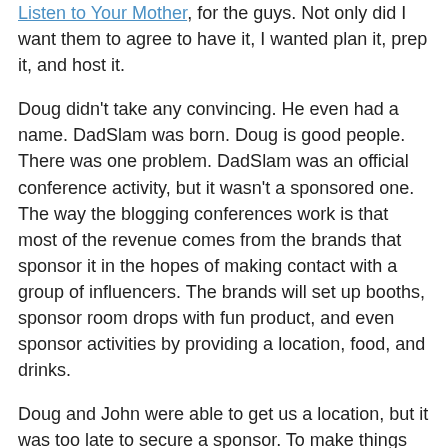Listen to Your Mother, for the guys. Not only did I want them to agree to have it, I wanted plan it, prep it, and host it.
Doug didn't take any convincing. He even had a name. DadSlam was born. Doug is good people. There was one problem. DadSlam was an official conference activity, but it wasn't a sponsored one. The way the blogging conferences work is that most of the revenue comes from the brands that sponsor it in the hopes of making contact with a group of influencers. The brands will set up booths, sponsor room drops with fun product, and even sponsor activities by providing a location, food, and drinks.
Doug and John were able to get us a location, but it was too late to secure a sponsor. To make things even more stressful, DadSlam was on the schedule for Friday night 9:30 until 11:00. From 6:30 – 9:00, the awesome folks at LEGO were taking pretty much the entire conference to an